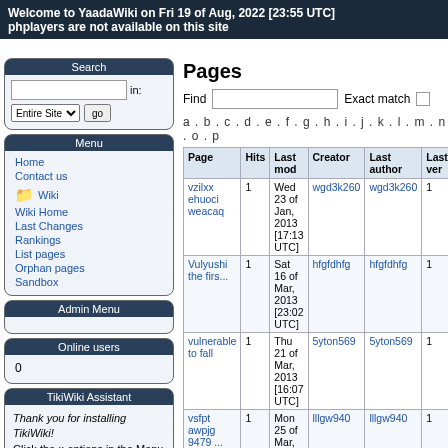Welcome to YaadaWiki on Fri 19 of Aug, 2022 [23:55 UTC]
phplayers are not available on this site
Search
in: Entire Site go
Menu
Home
Contact us
Wiki
Wiki Home
Last Changes
Rankings
List pages
Orphan pages
Sandbox
Admin Menu
Online users
0
TikiWiki Assistant
Thank you for installing TikiWiki! Click the :: options in the Menu for more options. Please, also see TikiMovies for more setup details.
Pages
Find   Exact match
a . b . c . d . e . f . g . h . i . j . k . l . m . n . o . p
| Page | Hits | Last mod | Creator | Last author | Last ver |
| --- | --- | --- | --- | --- | --- |
| vzilxx ehuoci weacaq | 1 | Wed 23 of Jan, 2013 [17:13 UTC] | wgd3k260 | wgd3k260 | 1 |
| Vulyushi the firs... | 1 | Sat 16 of Mar, 2013 [23:02 UTC] | hfgfdhfg | hfgfdhfg | 1 |
| vulnerable to fall | 1 | Thu 21 of Mar, 2013 [16:07 UTC] | 5yton569 | 5yton569 | 1 |
| vsfpt awpjg 9479 ... | 1 | Mon 25 of Mar, 2013 [05:12 UTC] | lllgw940 | lllgw940 | 1 |